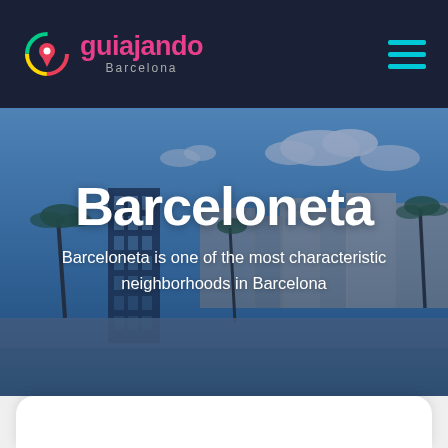guiajando Barcelona
Barceloneta
Barceloneta is one of the most characteristic neighborhoods in Barcelona
[Figure (photo): Hero image of Barceloneta neighborhood in Barcelona showing beachfront buildings, palm trees, a modern dark tower building on the left, and classic white buildings on the right, with a blue sky and beach in the foreground. The image has a blue color overlay.]